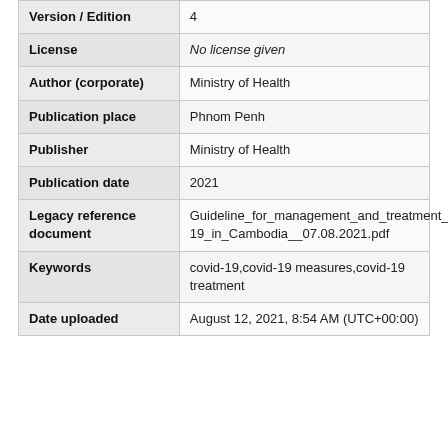| Field | Value |
| --- | --- |
| Version / Edition | 4 |
| License | No license given |
| Author (corporate) | Ministry of Health |
| Publication place | Phnom Penh |
| Publisher | Ministry of Health |
| Publication date | 2021 |
| Legacy reference document | Guideline_for_management_and_treatment_of_COVID-19_in_Cambodia__07.08.2021.pdf |
| Keywords | covid-19,covid-19 measures,covid-19 treatment |
| Date uploaded | August 12, 2021, 8:54 AM (UTC+00:00) |